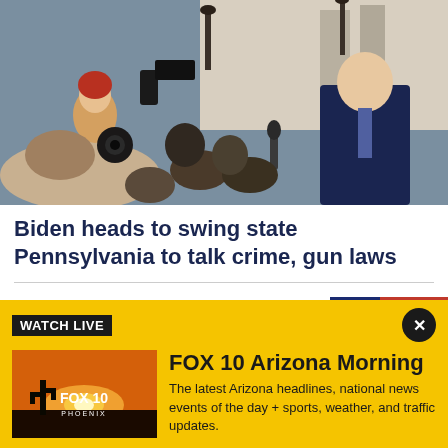[Figure (photo): A politician in a dark suit speaking to a press pool with cameras and microphones in front of a white building]
Biden heads to swing state Pennsylvania to talk crime, gun laws
Biden to deliver prime-time speech Thursday on 'battle' for democracy
[Figure (photo): Thumbnail of Biden speaking at a podium with American flags and a blue campaign sign in background]
WATCH LIVE
[Figure (photo): FOX 10 Phoenix logo over a desert sunset with a saguaro cactus silhouette]
FOX 10 Arizona Morning
The latest Arizona headlines, national news events of the day + sports, weather, and traffic updates.